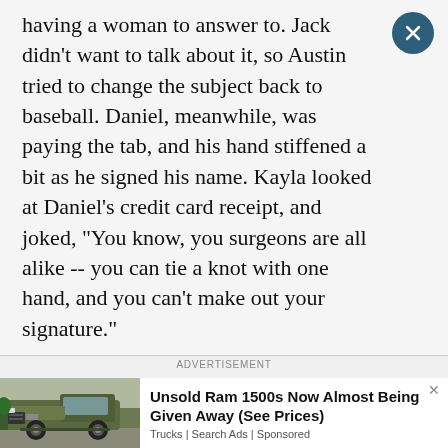having a woman to answer to. Jack didn't want to talk about it, so Austin tried to change the subject back to baseball. Daniel, meanwhile, was paying the tab, and his hand stiffened a bit as he signed his name. Kayla looked at Daniel's credit card receipt, and joked, "You know, you surgeons are all alike -- you can tie a knot with one hand, and you can't make out your signature."
ADVERTISEMENT
[Figure (photo): A dark olive green Ram 1500 truck parked in a driveway with plants visible in the background]
Unsold Ram 1500s Now Almost Being Given Away (See Prices)
Trucks | Search Ads | Sponsored